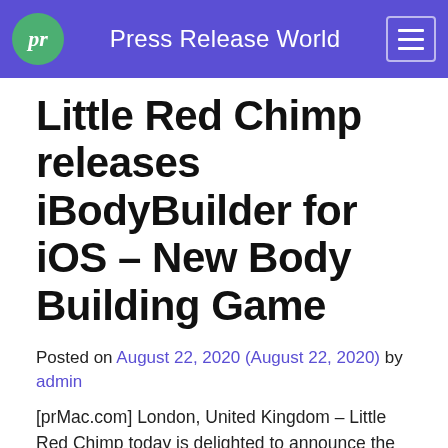Press Release World
Little Red Chimp releases iBodyBuilder for iOS – New Body Building Game
Posted on August 22, 2020 (August 22, 2020) by admin
[prMac.com] London, United Kingdom – Little Red Chimp today is delighted to announce the release and immediate availability of iBodyBuilder 1.0, their new game title developed exclusively for iPhone, iPad and iPod touch devices. iBodybuilder is 2D fun; starting as a skinny weakling you must pump iron in the gym to become the